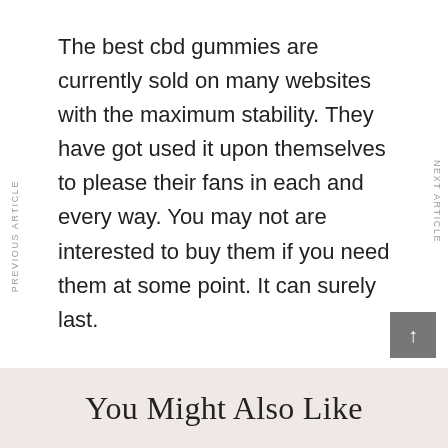The best cbd gummies are currently sold on many websites with the maximum stability. They have got used it upon themselves to please their fans in each and every way. You may not are interested to buy them if you need them at some point. It can surely last.
best
cbd
gummies
PREVIOUS ARTICLE
NEXT ARTICLE
You Might Also Like